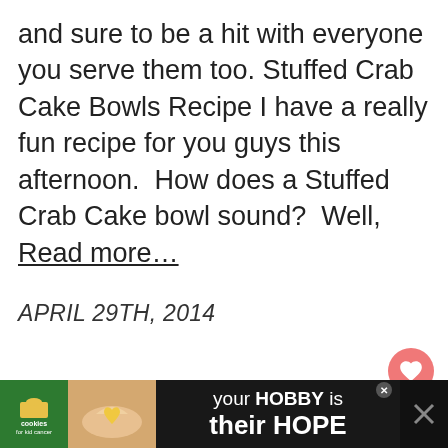and sure to be a hit with everyone you serve them too. Stuffed Crab Cake Bowls Recipe I have a really fun recipe for you guys this afternoon.  How does a Stuffed Crab Cake bowl sound?  Well, Read more…
APRIL 29TH, 2014
[Figure (photo): Photo of sliced artisan bread loaves on a wooden surface, showing texture with seeds and holes inside the crumb]
WHAT'S NEXT → Vegetable Omelette...
your HOBBY is their HOPE